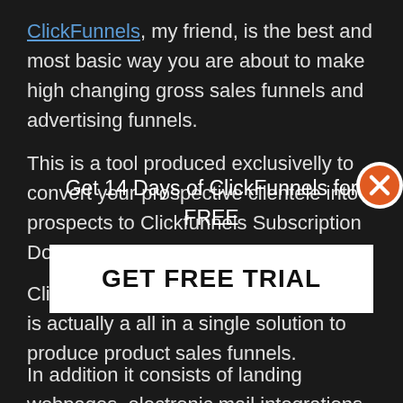ClickFunnels, my friend, is the best and most basic way you are about to make high changing gross sales funnels and advertising funnels.
This is a tool produced exclusivelly to convert your prospective clientele into prospects to Clickfunnels Subscription Downsell 40.
[Figure (infographic): Modal overlay with close button (orange X), title 'Get 14 Days of ClickFunnels for FREE', and a white button labeled 'GET FREE TRIAL']
Clickfunnels Subscription Downsell 40 is actually a all in a single solution to produce product sales funnels.
In addition it consists of landing webpages, electronic mail integrations, invoicing in your customers and many others.